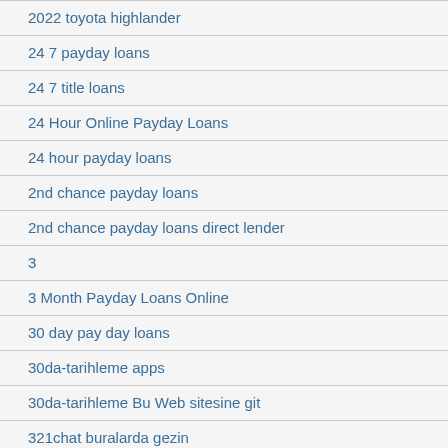2022 toyota highlander
24 7 payday loans
24 7 title loans
24 Hour Online Payday Loans
24 hour payday loans
2nd chance payday loans
2nd chance payday loans direct lender
3
3 Month Payday Loans Online
30 day pay day loans
30da-tarihleme apps
30da-tarihleme Bu Web sitesine git
321chat buralarda gezin
321chat dating
321chat login